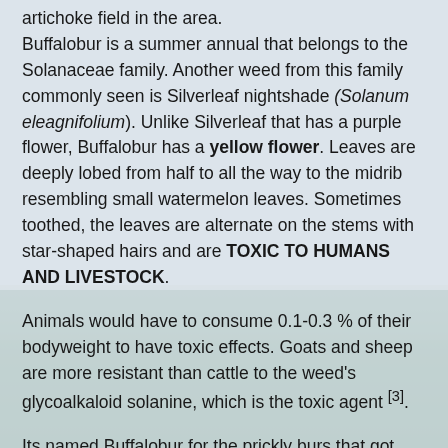artichoke field in the area.
Buffalobur is a summer annual that belongs to the Solanaceae family. Another weed from this family commonly seen is Silverleaf nightshade (Solanum eleagnifolium). Unlike Silverleaf that has a purple flower, Buffalobur has a yellow flower. Leaves are deeply lobed from half to all the way to the midrib resembling small watermelon leaves. Sometimes toothed, the leaves are alternate on the stems with star-shaped hairs and are TOXIC TO HUMANS AND LIVESTOCK.
Animals would have to consume 0.1-0.3 % of their bodyweight to have toxic effects. Goats and sheep are more resistant than cattle to the weed's glycoalkaloid solanine, which is the toxic agent [3].
Its named Buffalobur for the prickly burs that got entangled to the fur of the bisons. Plants can reach up to 60 cm tall [2].